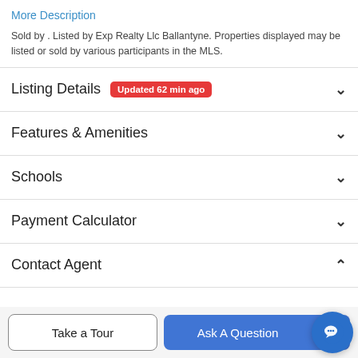More Description
Sold by . Listed by Exp Realty Llc Ballantyne. Properties displayed may be listed or sold by various participants in the MLS.
Listing Details  Updated 62 min ago
Features & Amenities
Schools
Payment Calculator
Contact Agent
Take a Tour
Ask A Question